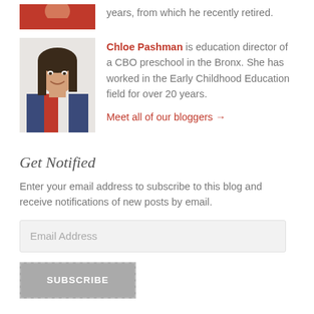[Figure (photo): Partial photo of a person in a red shirt, top portion visible]
years, from which he recently retired.
[Figure (photo): Photo of Chloe Pashman, a woman with long dark hair, smiling, wearing a colorful top]
Chloe Pashman is education director of a CBO preschool in the Bronx. She has worked in the Early Childhood Education field for over 20 years.
Meet all of our bloggers →
Get Notified
Enter your email address to subscribe to this blog and receive notifications of new posts by email.
Email Address
SUBSCRIBE